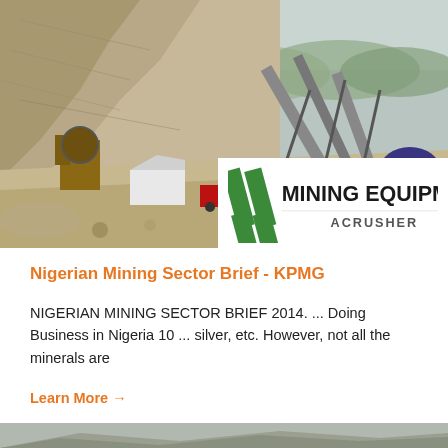[Figure (photo): Aerial/ground view of an open-pit mining quarry operation with large conveyor belts, machinery, a red truck, and rocky terrain. Green hills visible in background.]
[Figure (logo): Mining Equipment ACRUSHER logo with green diagonal stripe marks on the left side]
Nigerian Mining Sector Brief - KPMG
NIGERIAN MINING SECTOR BRIEF 2014. ... Doing Business in Nigeria 10 ... silver, etc. However, not all the minerals are
Learn More →
[Figure (photo): Partial view of another mining/quarry landscape at the bottom of the page]